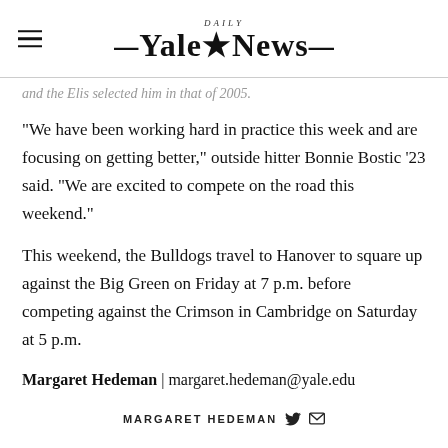Yale Daily News
and the Elis selected him in that of 2005.
“We have been working hard in practice this week and are focusing on getting better,” outside hitter Bonnie Bostic ’23 said. “We are excited to compete on the road this weekend.”
This weekend, the Bulldogs travel to Hanover to square up against the Big Green on Friday at 7 p.m. before competing against the Crimson in Cambridge on Saturday at 5 p.m.
Margaret Hedeman | margaret.hedeman@yale.edu
MARGARET HEDEMAN